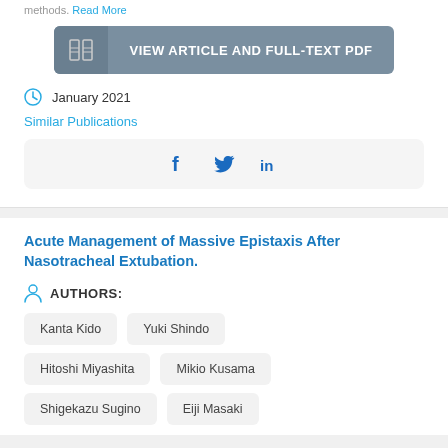methods. Read More
[Figure (other): Button: VIEW ARTICLE AND FULL-TEXT PDF with book icon on grey background]
January 2021
Similar Publications
[Figure (other): Social sharing icons: Facebook, Twitter, LinkedIn]
Acute Management of Massive Epistaxis After Nasotracheal Extubation.
AUTHORS:
Kanta Kido
Yuki Shindo
Hitoshi Miyashita
Mikio Kusama
Shigekazu Sugino
Eiji Masaki